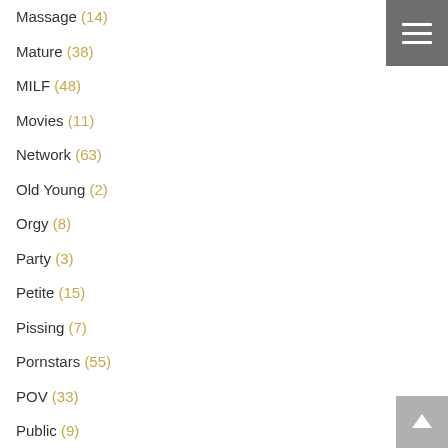Massage (14)
Mature (38)
MILF (48)
Movies (11)
Network (63)
Old Young (2)
Orgy (8)
Party (3)
Petite (15)
Pissing (7)
Pornstars (55)
POV (33)
Public (9)
Reality (133)